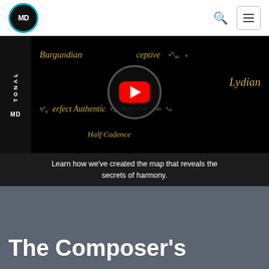MD
[Figure (screenshot): Video thumbnail screenshot showing a music theory map with terms: Burgundian, Deceptive, Lydian, Perfect Authentic, Half Cadence, with YouTube play button overlay. Sidebar shows TONAL MD branding.]
Learn how we've created the map that reveals the secrets of harmony.
The Composer's